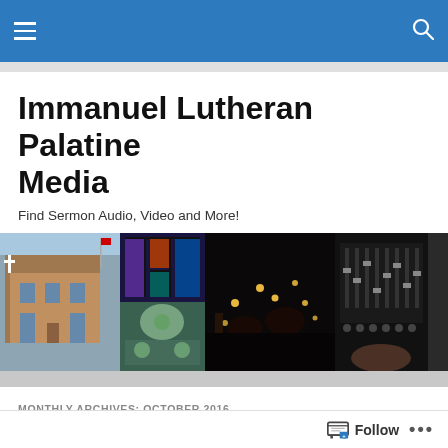Immanuel Lutheran Palatine Media — navigation bar with hamburger menu and search icon
Immanuel Lutheran Palatine Media
Find Sermon Audio, Video and More!
[Figure (photo): Collage of four photos: church exterior with cross, stained glass window, congregation holding candles in dark, audio mixing board]
MONTHLY ARCHIVES: OCTOBER 2016
Oct 29/30 – Lessons from A Wittmar Rederment...